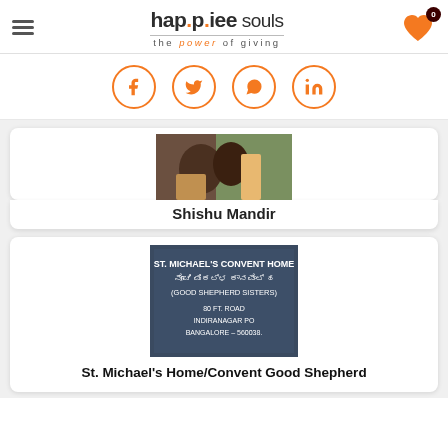happiee souls – the power of giving
[Figure (infographic): Social sharing icons: Facebook, Twitter, WhatsApp, LinkedIn in orange circles]
[Figure (photo): Photo of children, partial view, associated with Shishu Mandir listing]
Shishu Mandir
[Figure (photo): Sign board reading: St. Michael's Convent Home – Good Shepherd Sisters – 80 Ft. Road, Indiranagar PO, Bangalore – 560038]
St. Michael's Home/Convent Good Shepherd